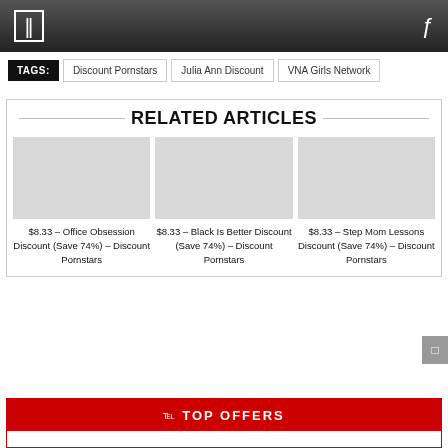navigation bar with menu icon and search icon
TAGS: Discount Pornstars | Julia Ann Discount | VNA Girls Network
RELATED ARTICLES
$8.33 – Office Obsession Discount (Save 74%) – Discount Pornstars
$8.33 – Black Is Better Discount (Save 74%) – Discount Pornstars
$8.33 – Step Mom Lessons Discount (Save 74%) – Discount Pornstars
TOP OFFERS